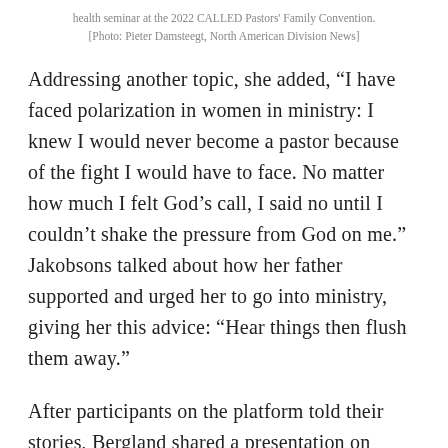health seminar at the 2022 CALLED Pastors' Family Convention. [Photo: Pieter Damsteegt, North American Division News]
Addressing another topic, she added, “I have faced polarization in women in ministry: I knew I would never become a pastor because of the fight I would have to face. No matter how much I felt God’s call, I said no until I couldn’t shake the pressure from God on me.” Jakobsons talked about how her father supported and urged her to go into ministry, giving her this advice: “Hear things then flush them away.”
After participants on the platform told their stories, Bergland shared a presentation on polarization and extremism from the perspective of mental health experts, Ellen G. White’s writings, and biblical